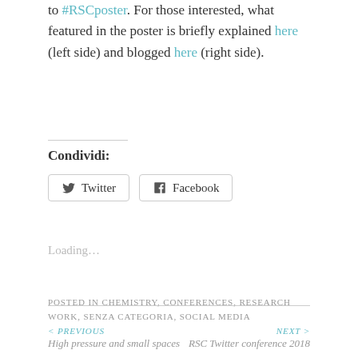to #RSCposter. For those interested, what featured in the poster is briefly explained here (left side) and blogged here (right side).
Condividi:
[Figure (other): Twitter and Facebook share buttons]
Loading...
POSTED IN CHEMISTRY, CONFERENCES, RESEARCH WORK, SENZA CATEGORIA, SOCIAL MEDIA
< PREVIOUS High pressure and small spaces
NEXT > RSC Twitter conference 2018